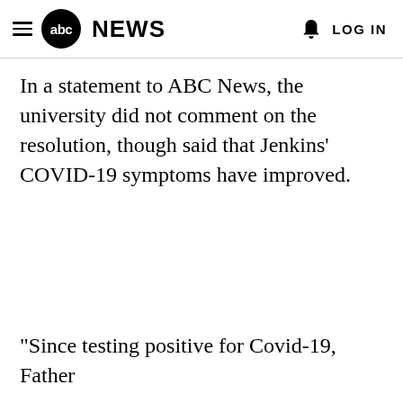abc NEWS  LOG IN
In a statement to ABC News, the university did not comment on the resolution, though said that Jenkins' COVID-19 symptoms have improved.
"Since testing positive for Covid-19, Father